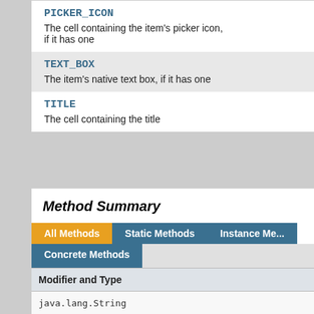| PICKER_ICON | The cell containing the item's picker icon, if it has one |
| TEXT_BOX | The item's native text box, if it has one |
| TITLE | The cell containing the title |
Method Summary
| Modifier and Type | Method and De... |
| --- | --- |
| java.lang.String | getValue() |
| static FormItemElementType | valueOf(java.... |